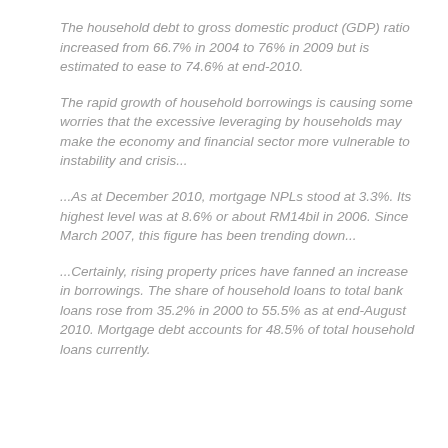The household debt to gross domestic product (GDP) ratio increased from 66.7% in 2004 to 76% in 2009 but is estimated to ease to 74.6% at end-2010.
The rapid growth of household borrowings is causing some worries that the excessive leveraging by households may make the economy and financial sector more vulnerable to instability and crisis...
...As at December 2010, mortgage NPLs stood at 3.3%. Its highest level was at 8.6% or about RM14bil in 2006. Since March 2007, this figure has been trending down...
...Certainly, rising property prices have fanned an increase in borrowings. The share of household loans to total bank loans rose from 35.2% in 2000 to 55.5% as at end-August 2010. Mortgage debt accounts for 48.5% of total household loans currently.